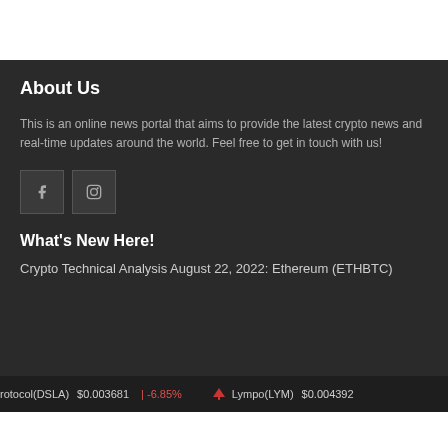About Us
This is an online news portal that aims to provide the latest crypto news and real-time updates around the world. Feel free to get in touch with us!
[Figure (infographic): Social media icons: Facebook (f) and Instagram (camera) square buttons on dark background]
What's New Here!
Crypto Technical Analysis August 22, 2022: Ethereum (ETHBTC)
rotocol(DSLA) $0.003681 | -6.85% Lympo(LYM) $0.004392